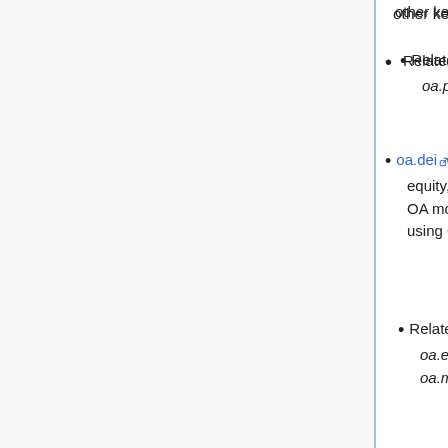other key terms
Related: oa.declarations, oa.partial, oa.terminology
oa.dei = for items about diversity, equity, and inclusion (DEI) within the OA movement itself; also items about using OA to promote DEI
Related: oa.bibliodiversity, oa.ethics, oa.gender, oa.multilingualism
Deprecated: oa.diversity
oa.deliberations = for items about institutions considering or developing OA policies
Deprecated: oa.deliberating
oa.denmark = for items about OA in Denmark
This tag library is linked from Open-Access.dk, the Danish